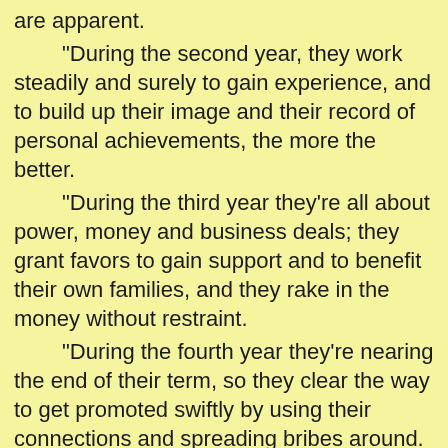are apparent.
"During the second year, they work steadily and surely to gain experience, and to build up their image and their record of personal achievements, the more the better.
"During the third year they're all about power, money and business deals; they grant favors to gain support and to benefit their own families, and they rake in the money without restraint.
"During the fourth year they're nearing the end of their term, so they clear the way to get promoted swiftly by using their connections and spreading bribes around.
"In view of this, it is the people's desire for a change of personnel in the office of Town Manager. Here's a poem which evidences our feelings:
"During the first year for a brand new official,
"He won't take bribes and he won't miss the call;
"So the villagers have found a clever way here,